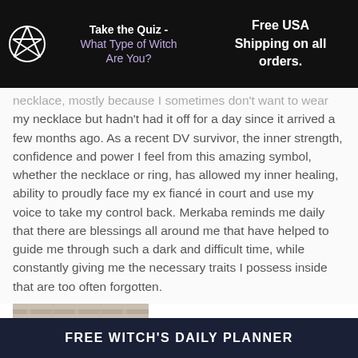Take the Quiz - What Type of Witch Are You?   Free USA Shipping on all orders.
necklace, mostly because I sometimes don't want to wear my necklace but hadn't had it off for a day since it arrived a few months ago. As a recent DV survivor, the inner strength, confidence and power I feel from this amazing symbol, whether the necklace or ring, has allowed my inner healing, ability to proudly face my ex fiancé in court and use my voice to take my control back. Merkaba reminds me daily that there are blessings all around me that have helped to guide me through such a dark and difficult time, while constantly giving me the necessary traits I possess inside that are too often forgotten.
[Figure (photo): Close-up photo of a hand wearing a ring, resting on plaid fabric]
FREE WITCH'S DAILY PLANNER